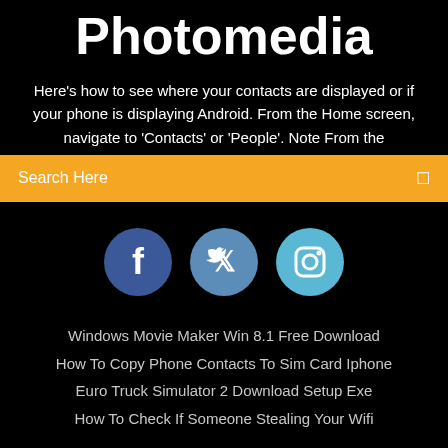Photomedia
Here's how to see where your contacts are displayed or if your phone is displaying Android. From the Home screen, navigate to 'Contacts' or 'People'. Note From the
Search Here
[Figure (infographic): Three circular social media icons: Facebook (dark blue, f), Twitter (medium blue, bird), Instagram (light blue, camera)]
Windows Movie Maker Win 8.1 Free Download
How To Copy Phone Contacts To Sim Card Iphone
Euro Truck Simulator 2 Download Setup Exe
How To Check If Someone Stealing Your Wifi